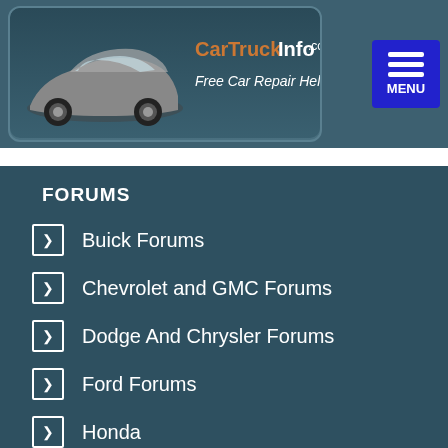[Figure (logo): CarTruckInfo.com website logo with a silver sports car and tagline 'Free Car Repair Help']
FORUMS
Buick Forums
Chevrolet and GMC Forums
Dodge And Chrysler Forums
Ford Forums
Honda
Oldsmobile Forums
Pontiac Forums
MECHANIC INSIDER ARTICLES